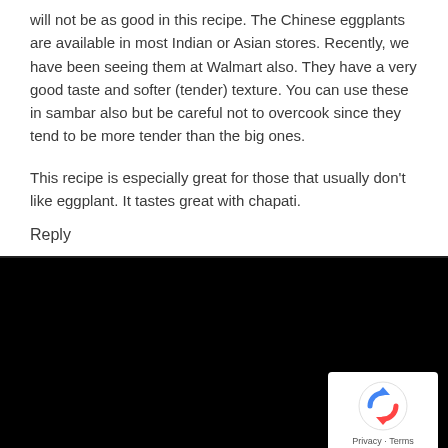will not be as good in this recipe. The Chinese eggplants are available in most Indian or Asian stores. Recently, we have been seeing them at Walmart also. They have a very good taste and softer (tender) texture. You can use these in sambar also but be careful not to overcook since they tend to be more tender than the big ones.
This recipe is especially great for those that usually don't like eggplant. It tastes great with chapati.
Reply
[Figure (other): Black background section with reCAPTCHA badge in the bottom right corner showing the reCAPTCHA logo and Privacy - Terms text.]